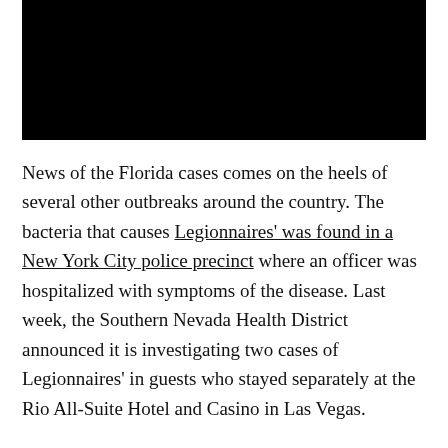[Figure (photo): Black rectangular image at top of page, content not visible]
News of the Florida cases comes on the heels of several other outbreaks around the country. The bacteria that causes Legionnaires' was found in a New York City police precinct where an officer was hospitalized with symptoms of the disease. Last week, the Southern Nevada Health District announced it is investigating two cases of Legionnaires' in guests who stayed separately at the Rio All-Suite Hotel and Casino in Las Vegas.
The CDC said the bacteria grows best in warm water and can cause pneumonia-like symptoms, cough